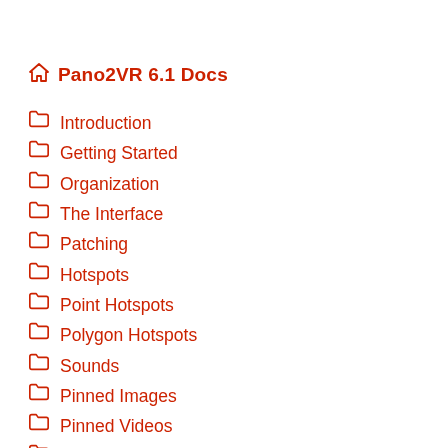Pano2VR 6.1 Docs
Introduction
Getting Started
Organization
The Interface
Patching
Hotspots
Point Hotspots
Polygon Hotspots
Sounds
Pinned Images
Pinned Videos
Lens Flares
Generate Alternative Files
360 Video
Building Tours